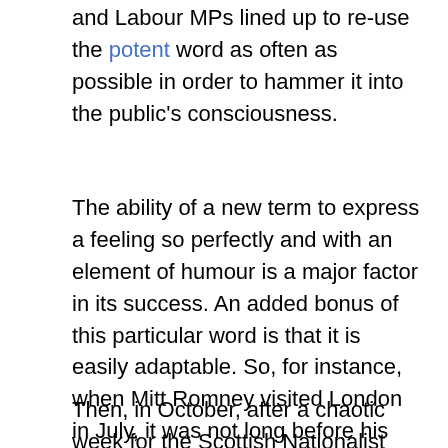and Labour MPs lined up to re-use the potent word as often as possible in order to hammer it into the public's consciousness.
The ability of a new term to express a feeling so perfectly and with an element of humour is a major factor in its success. An added bonus of this particular word is that it is easily adaptable. So, for instance, when Mitt Romney visited London in July, it was not long before his series of gaffes, including less than tactful comments on Britain's ability to host the Olympics, was dubbed the Romneyshambles.
Then, in October, after a chaotic week for the Scottish Nationalist Party, their leader Alex